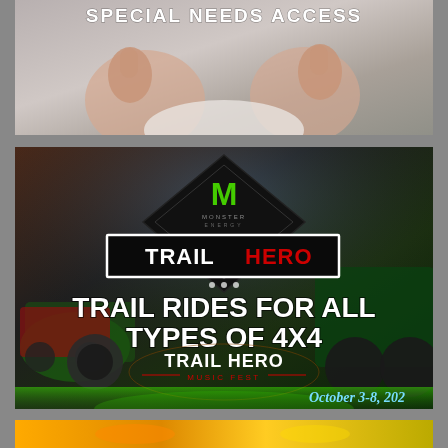[Figure (photo): Child giving two thumbs up, with text overlay 'SPECIAL NEEDS ACCESS' at the top]
[Figure (photo): Monster Energy Trail Hero event promotional image showing off-road vehicles, Monster Energy logo diamond, Trail Hero logo in white box, Trail Hero Music Fest badge, text overlays, and 'October 3-8, 20[22]' date]
[Figure (photo): Partially visible third image at the bottom of the page with warm yellow/orange tones]